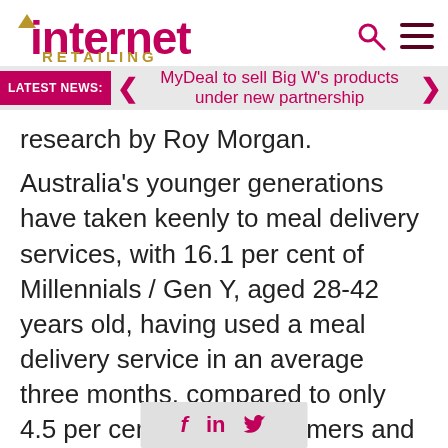[Figure (logo): Internet Retailing logo with pink 'internet' text and gold 'RETAILING' text]
MyDeal to sell Big W's products under new partnership
research by Roy Morgan.
Australia's younger generations have taken keenly to meal delivery services, with 16.1 per cent of Millennials / Gen Y, aged 28-42 years old, having used a meal delivery service in an average three months, compared to only 4.5 per cent of Baby Boomers and just 3.6 per cent of Pre-Boomers, aged 58 and older.